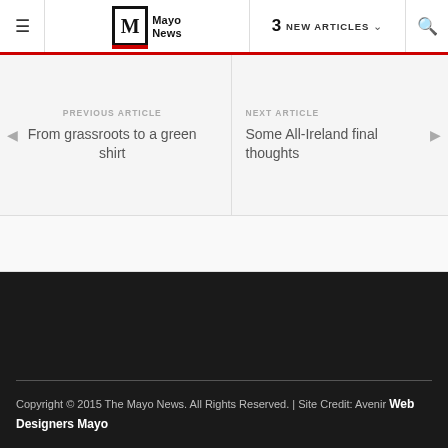Mayo News — 3 NEW ARTICLES
PREVIOUS ARTICLE
From grassroots to a green shirt
NEXT ARTICLE
Some All-Ireland final thoughts
Copyright © 2015 The Mayo News. All Rights Reserved. | Site Credit: Avenir Web Designers Mayo